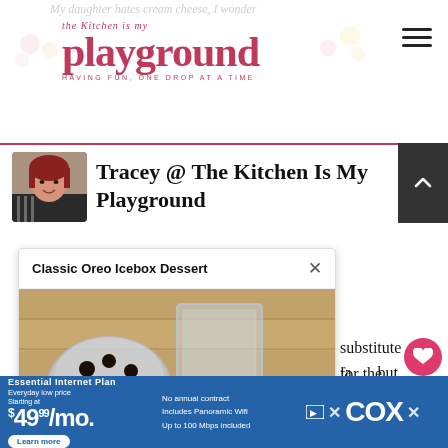the Kitchen is my playground — HAVING FUN, ONE DROP AT A TIME
My daughter hates cream cheese, I wonder
[Figure (photo): Author avatar photo of a woman with red hair]
Tracey @ The Kitchen Is My Playground
[Figure (screenshot): Popup card showing 'Classic Oreo Icebox Dessert' with a photo of hands pouring chocolate chips into a glass dish on a wooden background]
substitute for the ia ... but a coup to mind. 1. Y ream cheese lay altogether. 2. You could try sour
[Figure (photo): Thumbnail of an Oreo icebox dessert layered cake]
[Figure (screenshot): Advertisement banner for Cox Essential Internet Plan — Everyday low price, Starting at $49.99/mo, No annual contract, Includes Panoramic Wifi, Up to 100 Mbps included, Learn more]
Classic Oreo Icebox Dessert